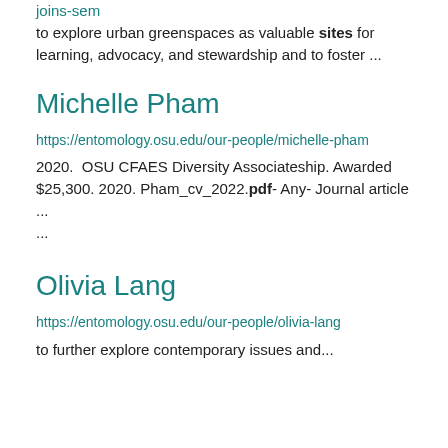joins-sem
to explore urban greenspaces as valuable sites for learning, advocacy, and stewardship and to foster ...
Michelle Pham
https://entomology.osu.edu/our-people/michelle-pham
2020.  OSU CFAES Diversity Associateship. Awarded $25,300. 2020. Pham_cv_2022.pdf- Any- Journal article ...
Olivia Lang
https://entomology.osu.edu/our-people/olivia-lang